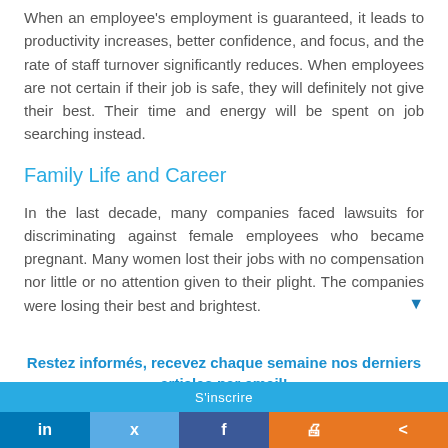When an employee's employment is guaranteed, it leads to productivity increases, better confidence, and focus, and the rate of staff turnover significantly reduces. When employees are not certain if their job is safe, they will definitely not give their best. Their time and energy will be spent on job searching instead.
Family Life and Career
In the last decade, many companies faced lawsuits for discriminating against female employees who became pregnant. Many women lost their jobs with no compensation nor little or no attention given to their plight. The companies were losing their best and brightest.
Restez informés, recevez chaque semaine nos derniers articles par email!
Votre adresse...
S'inscrire